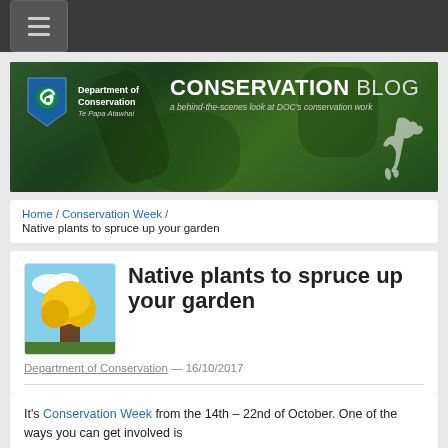Navigation bar with hamburger menu
[Figure (screenshot): Department of Conservation Conservation Blog banner — dark green nature background with DOC logo (shield with koru), text 'CONSERVATION BLOG – a behind-the-scenes look at DOC's conservation work', and silhouette bird]
Home / Conservation Week / Native plants to spruce up your garden
Native plants to spruce up your garden
Department of Conservation — 16/10/2017
It's Conservation Week from the 14th – 22nd of October. One of the ways you can get involved is